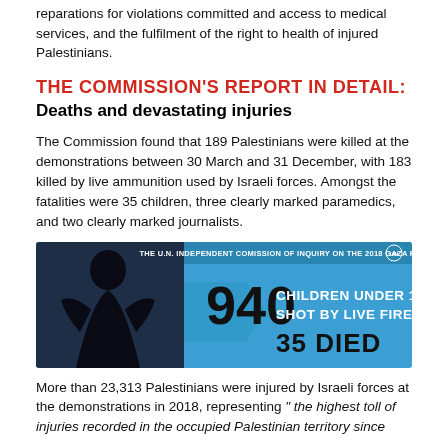reparations for violations committed and access to medical services, and the fulfilment of the right to health of injured Palestinians.
THE COMMISSION'S REPORT IN DETAIL:
Deaths and devastating injuries
The Commission found that 189 Palestinians were killed at the demonstrations between 30 March and 31 December, with 183 killed by live ammunition used by Israeli forces. Amongst the fatalities were 35 children, three clearly marked paramedics, and two clearly marked journalists.
[Figure (infographic): Blue infographic from the U.N. Independent Commission of Inquiry on the 2018 Gaza Protests. Shows a silhouette of a person on the left, and on the right text: '940 CHILDREN UNDER 18 SHOT BY LIVE FIRE' and below '35 DIED'. UN logo top right.]
More than 23,313 Palestinians were injured by Israeli forces at the demonstrations in 2018, representing "the highest toll of injuries recorded in the occupied Palestinian territory since